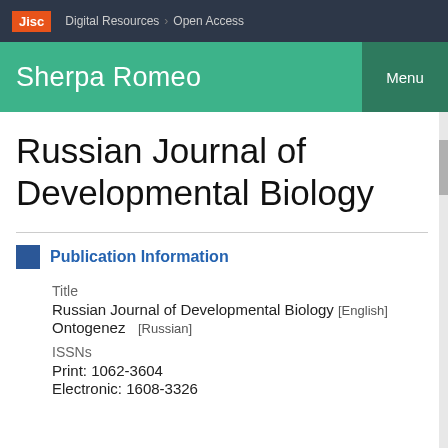Jisc  Digital Resources > Open Access
Sherpa Romeo  Menu
Russian Journal of Developmental Biology
Publication Information
Title
Russian Journal of Developmental Biology [English]
Ontogenez [Russian]
ISSNs
Print: 1062-3604
Electronic: 1608-3326